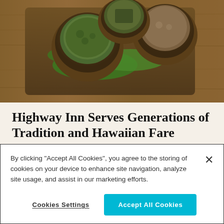[Figure (photo): Overhead photo of wooden bowls containing various Hawaiian food items (herbs, greens, dried ingredients) arranged on a wooden tray with green leaves, on a wooden surface.]
Highway Inn Serves Generations of Tradition and Hawaiian Fare
Eat like locals, with locals.
By Highway Inn
By clicking “Accept All Cookies”, you agree to the storing of cookies on your device to enhance site navigation, analyze site usage, and assist in our marketing efforts.
Cookies Settings
Accept All Cookies